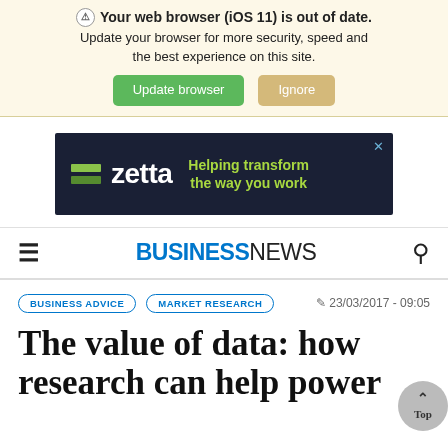Your web browser (iOS 11) is out of date. Update your browser for more security, speed and the best experience on this site.
[Figure (screenshot): Browser update warning bar with 'Update browser' (green button) and 'Ignore' (tan button)]
[Figure (screenshot): Zetta advertisement banner: dark navy background with colored bar logo and text 'zetta Helping transform the way you work']
BUSINESSNEWS
BUSINESS ADVICE   MARKET RESEARCH   23/03/2017 - 09:05
The value of data: how research can help power